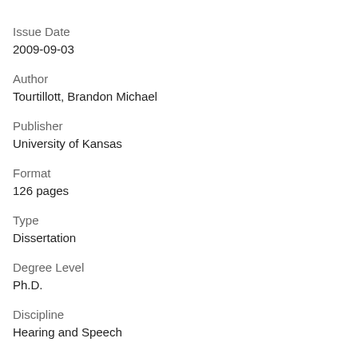Issue Date
2009-09-03
Author
Tourtillott, Brandon Michael
Publisher
University of Kansas
Format
126 pages
Type
Dissertation
Degree Level
Ph.D.
Discipline
Hearing and Speech